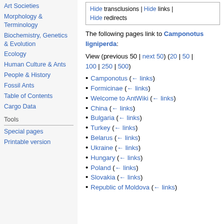Art Societies
Morphology & Terminology
Biochemistry, Genetics & Evolution
Ecology
Human Culture & Ants
People & History
Fossil Ants
Table of Contents
Cargo Data
Tools
Special pages
Printable version
Hide transclusions | Hide links | Hide redirects
The following pages link to Camponotus ligniperda:
View (previous 50 | next 50) (20 | 50 | 100 | 250 | 500)
Camponotus (← links)
Formicinae (← links)
Welcome to AntWiki (← links)
China (← links)
Bulgaria (← links)
Turkey (← links)
Belarus (← links)
Ukraine (← links)
Hungary (← links)
Poland (← links)
Slovakia (← links)
Republic of Moldova (← links)